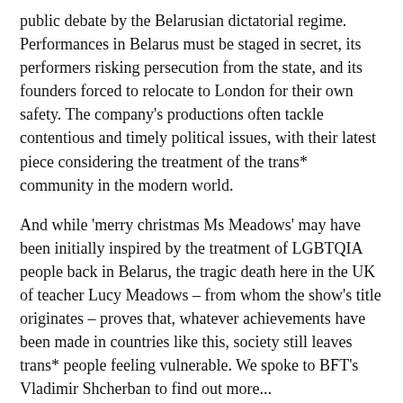public debate by the Belarusian dictatorial regime. Performances in Belarus must be staged in secret, its performers risking persecution from the state, and its founders forced to relocate to London for their own safety. The company's productions often tackle contentious and timely political issues, with their latest piece considering the treatment of the trans* community in the modern world.
And while 'merry christmas Ms Meadows' may have been initially inspired by the treatment of LGBTQIA people back in Belarus, the tragic death here in the UK of teacher Lucy Meadows – from whom the show's title originates – proves that, whatever achievements have been made in countries like this, society still leaves trans* people feeling vulnerable. We spoke to BFT's Vladimir Shcherban to find out more...
CC: What is the premise of 'merry christmas Ms Meadows'? What made you decide to tackle this